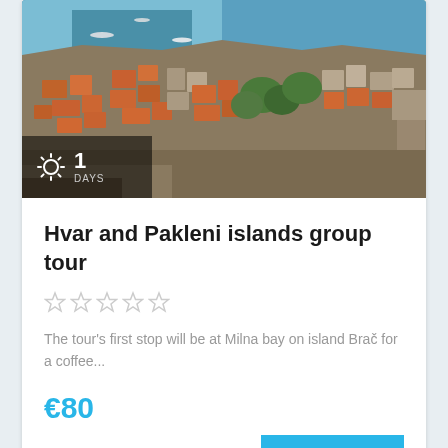[Figure (photo): Aerial view of a Mediterranean coastal town with orange-tiled rooftops, stone buildings, blue sea with boats, and green trees. A badge showing '1 DAYS' with a sun icon overlays the bottom-left of the image.]
Hvar and Pakleni islands group tour
The tour's first stop will be at Milna bay on island Brač for a coffee...
€80
VIEW MORE